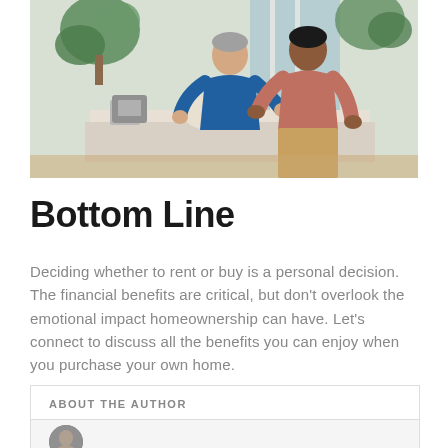[Figure (photo): Two men in a bright kitchen/living space moving or arranging items, one in a blue shirt and one in a pink shirt, with plants in the background.]
Bottom Line
Deciding whether to rent or buy is a personal decision. The financial benefits are critical, but don't overlook the emotional impact homeownership can have. Let's connect to discuss all the benefits you can enjoy when you purchase your own home.
ABOUT THE AUTHOR